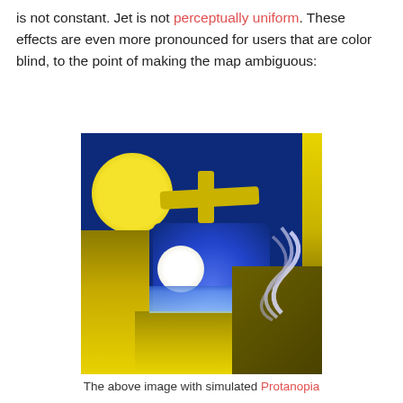is not constant. Jet is not perceptually uniform. These effects are even more pronounced for users that are color blind, to the point of making the map ambiguous:
[Figure (illustration): A colormap visualization showing geometric shapes (circles, rectangles, bars) rendered with simulated Protanopia color blindness — predominantly yellow, blue, and dark olive tones on a dark navy background. The image demonstrates how the Jet colormap appears to colorblind users, with distorted and ambiguous color representations.]
The above image with simulated Protanopia